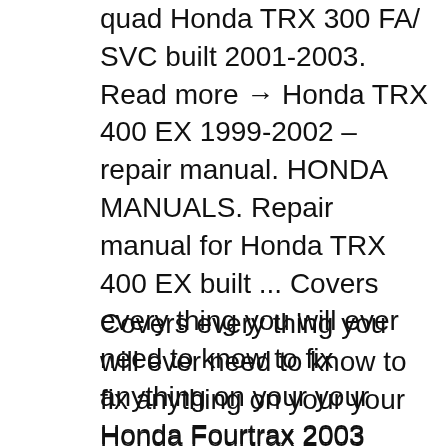quad Honda TRX 300 FA/ SVC built 2001-2003. Read more → Honda TRX 400 EX 1999-2002 – repair manual. HONDA MANUALS. Repair manual for Honda TRX 400 EX built ... Covers every thing you will ever need to know to fix anything on your your Honda Fourtrax 2003 2004 2005 TRX650FA TRX650-FA, TRX-650-FA 650 ATV. Payment and download Instructions: 1 Click on the green instant download button at the top left corner of this page to buy your repair manual now. 2. Pay with your credit card or through Paypal (No
Covers every thing you will ever need to know to fix anything on your your Honda Fourtrax 2003 2004 2005